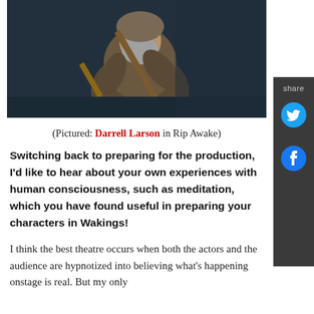[Figure (photo): An older bearded man in a fur coat aiming a long rifle/musket, photographed against a dark background on a theatre stage.]
(Pictured: Darrell Larson in Rip Awake)
Switching back to preparing for the production, I'd like to hear about your own experiences with human consciousness, such as meditation, which you have found useful in preparing your characters in Wakings!
I think the best theatre occurs when both the actors and the audience are hypnotized into believing what's happening onstage is real. But my only